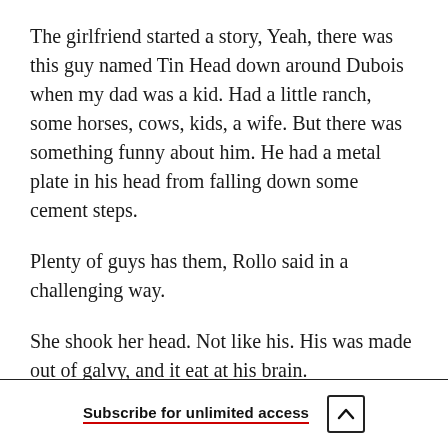The girlfriend started a story, Yeah, there was this guy named Tin Head down around Dubois when my dad was a kid. Had a little ranch, some horses, cows, kids, a wife. But there was something funny about him. He had a metal plate in his head from falling down some cement steps.
Plenty of guys has them, Rollo said in a challenging way.
She shook her head. Not like his. His was made out of galvy, and it eat at his brain.
Subscribe for unlimited access